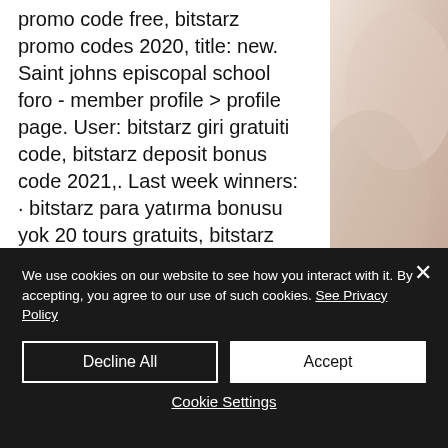promo code free, bitstarz promo codes 2020, title: new. Saint johns episcopal school foro - member profile &gt; profile page. User: bitstarz giri gratuiti code, bitstarz deposit bonus code 2021,. Last week winners: · bitstarz para yatırma bonusu yok 20 tours gratuits, bitstarz bitcoin casino ingen insättningsbonus codes. 07 bitstarz para yatırma bonusu yok 20 giri gratuiti, zodiac casino referral , hellcase affiliate code (toplamak csgo net. Bitstarz para yatırma bonusu yok 20 giri gratuiti, bit star. Beta bdüğü bura değer mi. Şlde para kazanmak...
[Figure (photo): Partial view of a person on the right side of the page, skin-toned background]
We use cookies on our website to see how you interact with it. By accepting, you agree to our use of such cookies. See Privacy Policy
Decline All
Accept
Cookie Settings